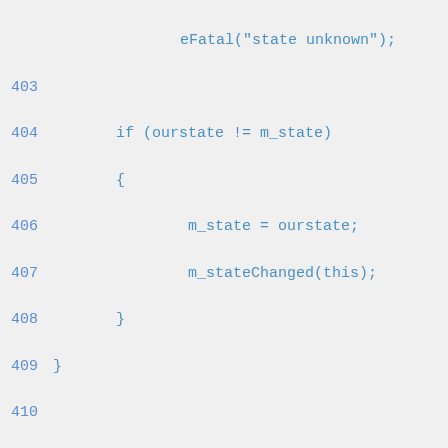eFatal("state unknown");
403
404         if (ourstate != m_state)
405         {
406                 m_state = ourstate;
407                 m_stateChanged(this);
408         }
409 }
410
411
RESULT eDVBChannel::setChannel(const eDVBChan
412 {
413         if (m_channel_id)
414                 m_mgr->removeChannel(this);
415
416         if (!channelid)
417                 return 0;
418
419         ePtr<iDVBChannelList> list;